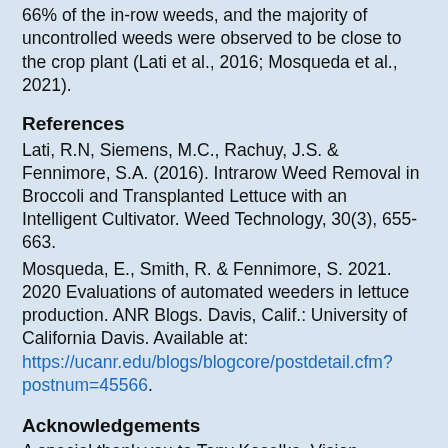66% of the in-row weeds, and the majority of uncontrolled weeds were observed to be close to the crop plant (Lati et al., 2016; Mosqueda et al., 2021).
References
Lati, R.N, Siemens, M.C., Rachuy, J.S. & Fennimore, S.A. (2016). Intrarow Weed Removal in Broccoli and Transplanted Lettuce with an Intelligent Cultivator. Weed Technology, 30(3), 655-663.
Mosqueda, E., Smith, R. & Fennimore, S. 2021. 2020 Evaluations of automated weeders in lettuce production. ANR Blogs. Davis, Calif.: University of California Davis. Available at: https://ucanr.edu/blogs/blogcore/postdetail.cfm?postnum=45566.
Acknowledgements
A special thank you to Tony Koselka, Vision Robotics Inc., for uploading the videos referenced in this article.